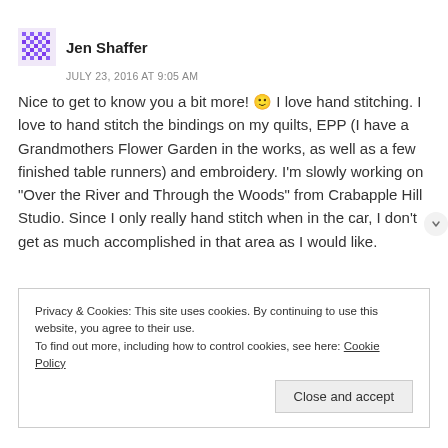[Figure (illustration): Small pixelated avatar/profile picture for Jen Shaffer]
Jen Shaffer
JULY 23, 2016 AT 9:05 AM
Nice to get to know you a bit more! 🙂 I love hand stitching. I love to hand stitch the bindings on my quilts, EPP (I have a Grandmothers Flower Garden in the works, as well as a few finished table runners) and embroidery. I'm slowly working on “Over the River and Through the Woods” from Crabapple Hill Studio. Since I only really hand stitch when in the car, I don’t get as much accomplished in that area as I would like.
Privacy & Cookies: This site uses cookies. By continuing to use this website, you agree to their use.
To find out more, including how to control cookies, see here: Cookie Policy
Close and accept